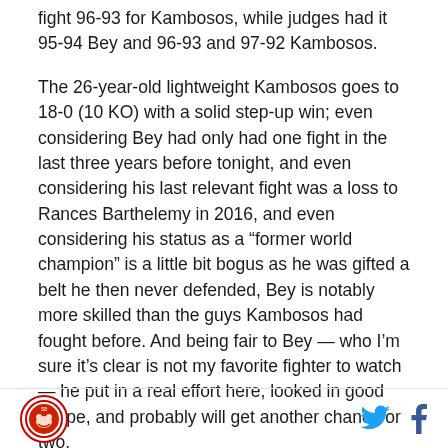fight 96-93 for Kambosos, while judges had it 95-94 Bey and 96-93 and 97-92 Kambosos.
The 26-year-old lightweight Kambosos goes to 18-0 (10 KO) with a solid step-up win; even considering Bey had only had one fight in the last three years before tonight, and even considering his last relevant fight was a loss to Rances Barthelemy in 2016, and even considering his status as a “former world champion” is a little bit bogus as he was gifted a belt he then never defended, Bey is notably more skilled than the guys Kambosos had fought before. And being fair to Bey — who I’m sure it’s clear is not my favorite fighter to watch — he put in a real effort here, looked in good shape, and probably will get another chance or two,
Logo | Twitter | Facebook